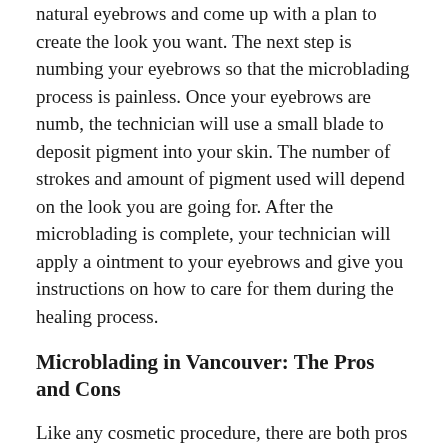natural eyebrows and come up with a plan to create the look you want. The next step is numbing your eyebrows so that the microblading process is painless. Once your eyebrows are numb, the technician will use a small blade to deposit pigment into your skin. The number of strokes and amount of pigment used will depend on the look you are going for. After the microblading is complete, your technician will apply a ointment to your eyebrows and give you instructions on how to care for them during the healing process.
Microblading in Vancouver: The Pros and Cons
Like any cosmetic procedure, there are both pros and cons to microblading. Some of the pros include:
– Microblading can give you the appearance of fuller,